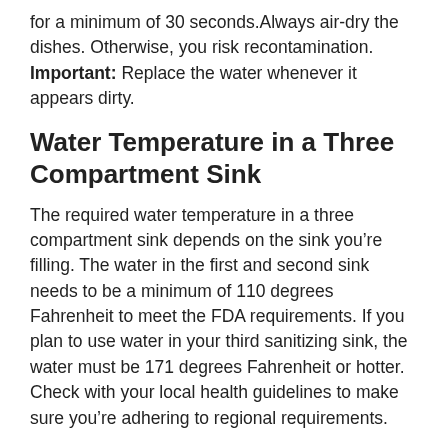for a minimum of 30 seconds. Always air-dry the dishes. Otherwise, you risk recontamination. Important: Replace the water whenever it appears dirty.
Water Temperature in a Three Compartment Sink
The required water temperature in a three compartment sink depends on the sink you’re filling. The water in the first and second sink needs to be a minimum of 110 degrees Fahrenheit to meet the FDA requirements. If you plan to use water in your third sanitizing sink, the water must be 171 degrees Fahrenheit or hotter. Check with your local health guidelines to make sure you’re adhering to regional requirements.
Important: Use a thermometer to check the water temperature.